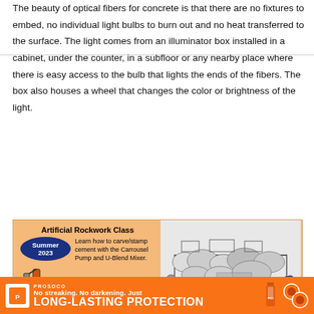The beauty of optical fibers for concrete is that there are no fixtures to embed, no individual light bulbs to burn out and no heat transferred to the surface. The light comes from an illuminator box installed in a cabinet, under the counter, in a subfloor or any nearby place where there is easy access to the bulb that lights the ends of the fibers. The box also houses a wheel that changes the color or brightness of the light.
[Figure (illustration): Advertisement for Artificial Rockwork Class, Summer 2023. Orange background with blue oval badge, text about Carrousel Pump and U-Blend Mixer, phone number 419-732-2611, and a sketch illustration of a building with rock facade.]
[Figure (illustration): PROSOCO footer advertisement: No streaking. No darkening. Just LONG-LASTING PROTECTION. Orange background with product bottle and logo icons.]